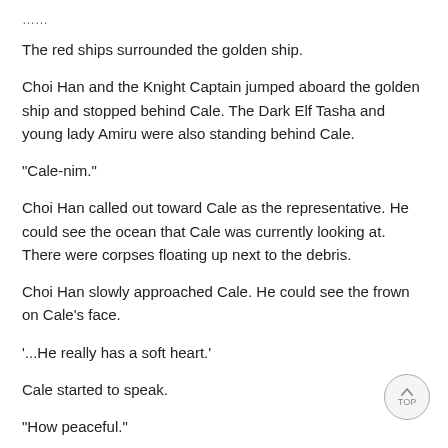The red ships surrounded the golden ship.
Choi Han and the Knight Captain jumped aboard the golden ship and stopped behind Cale. The Dark Elf Tasha and young lady Amiru were also standing behind Cale.
"Cale-nim."
Choi Han called out toward Cale as the representative. He could see the ocean that Cale was currently looking at. There were corpses floating up next to the debris.
Choi Han slowly approached Cale. He could see the frown on Cale's face.
'...He really has a soft heart.'
Cale started to speak.
"How peaceful."